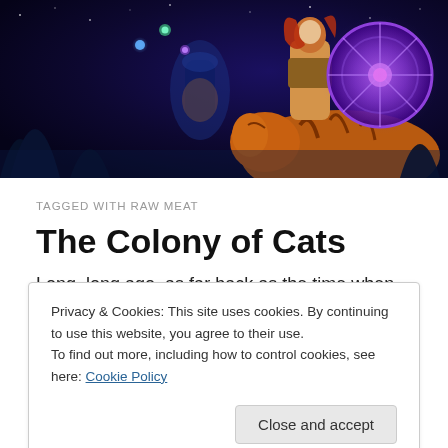[Figure (illustration): Fantasy illustration banner showing a red-haired woman warrior holding a purple shield, with a large tiger beside her, in a dark blue magical forest setting with glowing orbs and ancient architecture.]
TAGGED WITH RAW MEAT
The Colony of Cats
Long, long ago, as far back as the time when animals spoke, there lived a community of cats in a deserted
Privacy & Cookies: This site uses cookies. By continuing to use this website, you agree to their use.
To find out more, including how to control cookies, see here: Cookie Policy
pure pleasure of catching it. The old people of the town